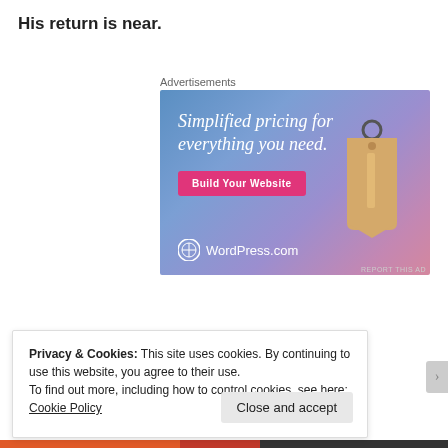His return is near.
Advertisements
[Figure (illustration): WordPress.com advertisement banner with gradient purple-blue background, text 'Simplified pricing for everything you need.', a pink 'Build Your Website' button, a 3D price tag graphic, and WordPress.com logo at bottom left.]
REPORT THIS AD
Privacy & Cookies: This site uses cookies. By continuing to use this website, you agree to their use.
To find out more, including how to control cookies, see here: Cookie Policy
Close and accept